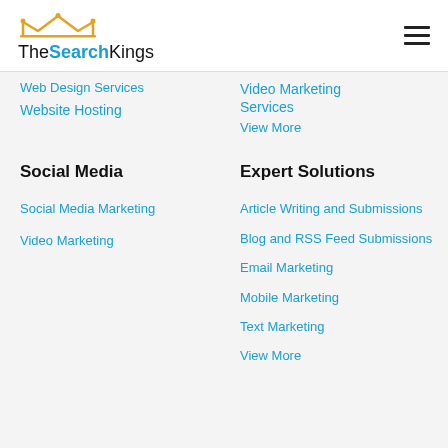[Figure (logo): TheSearchKings logo with crown icon and blue 'Search' text]
Web Design Services
Website Hosting
Video Marketing Services
View More
Social Media
Social Media Marketing
Video Marketing
Expert Solutions
Article Writing and Submissions
Blog and RSS Feed Submissions
Email Marketing
Mobile Marketing
Text Marketing
View More